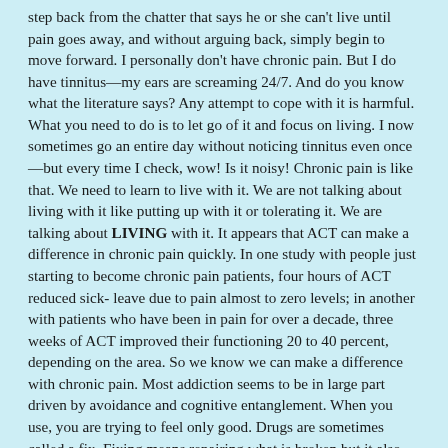step back from the chatter that says he or she can't live until pain goes away, and without arguing back, simply begin to move forward. I personally don't have chronic pain. But I do have tinnitus—my ears are screaming 24/7. And do you know what the literature says? Any attempt to cope with it is harmful. What you need to do is to let go of it and focus on living. I now sometimes go an entire day without noticing tinnitus even once—but every time I check, wow! Is it noisy! Chronic pain is like that. We need to learn to live with it. We are not talking about living with it like putting up with it or tolerating it. We are talking about LIVING with it. It appears that ACT can make a difference in chronic pain quickly. In one study with people just starting to become chronic pain patients, four hours of ACT reduced sick- leave due to pain almost to zero levels; in another with patients who have been in pain for over a decade, three weeks of ACT improved their functioning 20 to 40 percent, depending on the area. So we know we can make a difference with chronic pain. Most addiction seems to be in large part driven by avoidance and cognitive entanglement. When you use, you are trying to feel only good. Drugs are sometimes called a fix. Fixing means repairing what is broken but it also means to hold something in place. Drug and alcohol abusers